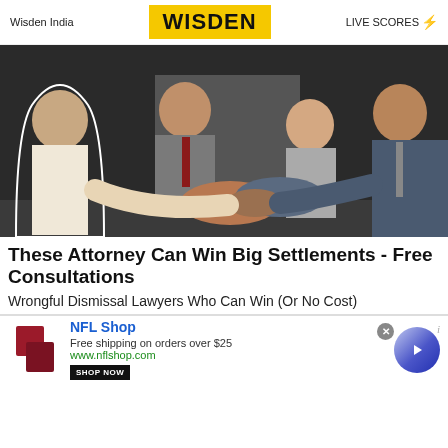Wisden India | WISDEN | LIVE SCORES
[Figure (photo): Business professionals shaking hands in an office setting; woman in white jacket shaking hands with man in blue suit, two people standing in background]
These Attorney Can Win Big Settlements - Free Consultations
Wrongful Dismissal Lawyers Who Can Win (Or No Cost)
[Figure (infographic): NFL Shop advertisement banner: NFL Shop logo, text 'Free shipping on orders over $25', 'www.nflshop.com', SHOP NOW button, blue circle arrow button]